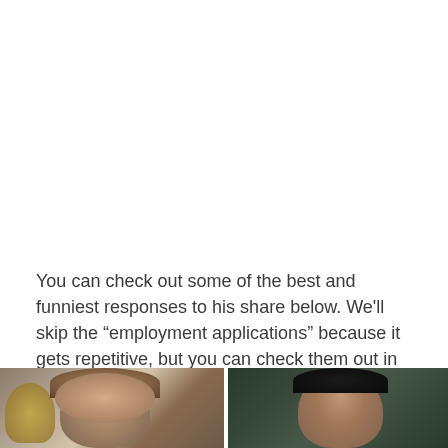You can check out some of the best and funniest responses to his share below. We'll skip the "employment applications" because it gets repetitive, but you can check them out in the thread here, if you're so inclined.
[Figure (photo): Two side-by-side photos of men, partially cropped. Left photo shows a young man with wavy/curly light brown hair, possibly at an awards event with gold decorative background. Right photo shows a man with dark hair against a dark background.]